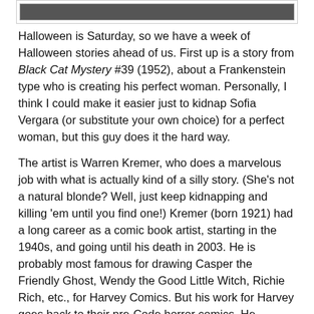[Figure (photo): Top portion of a comic book cover image, partially cropped at top of page]
Halloween is Saturday, so we have a week of Halloween stories ahead of us. First up is a story from Black Cat Mystery #39 (1952), about a Frankenstein type who is creating his perfect woman. Personally, I think I could make it easier just to kidnap Sofia Vergara (or substitute your own choice) for a perfect woman, but this guy does it the hard way.
The artist is Warren Kremer, who does a marvelous job with what is actually kind of a silly story. (She's not a natural blonde? Well, just keep kidnapping and killing 'em until you find one!) Kremer (born 1921) had a long career as a comic book artist, starting in the 1940s, and going until his death in 2003. He is probably most famous for drawing Casper the Friendly Ghost, Wendy the Good Little Witch, Richie Rich, etc., for Harvey Comics. But his work for Harvey goes back to their pre-Code horror comics. He designed covers, and he did occasional horror stories. If nothing else, he might be one of the most versatile comic artists ever.
[Figure (photo): Bottom portion of a comic book image, partially cropped at bottom of page]